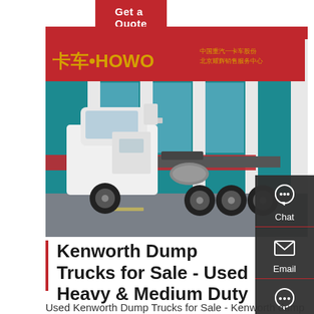Get a Quote
[Figure (photo): White HOWO heavy truck parked in front of a HOWO dealership/service center with Chinese signage and red/teal building facade]
Kenworth Dump Trucks for Sale - Used Heavy & Medium Duty
Used Kenworth Dump Trucks for Sale - Kenworth dump trucks available nationwide. Find heavy & medium duty dump trucks, single, double, or triple axle